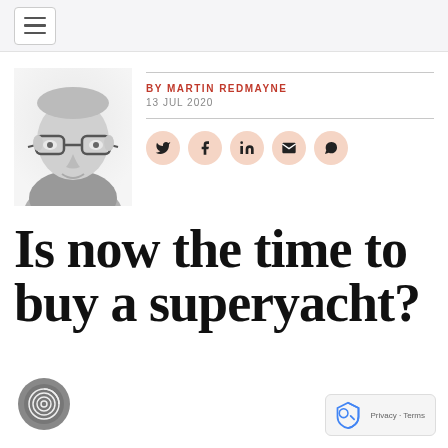BY MARTIN REDMAYNE
13 JUL 2020
[Figure (photo): Black and white headshot photo of Martin Redmayne, a middle-aged man with glasses]
Is now the time to buy a superyacht?